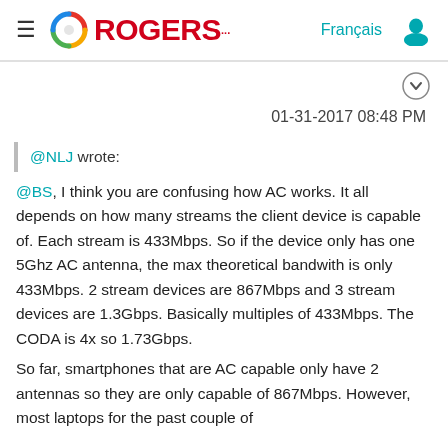Rogers community forum page header with logo, Français link, and user icon
01-31-2017 08:48 PM
@NLJ wrote:
@BS, I think you are confusing how AC works. It all depends on how many streams the client device is capable of. Each stream is 433Mbps. So if the device only has one 5Ghz AC antenna, the max theoretical bandwith is only 433Mbps. 2 stream devices are 867Mbps and 3 stream devices are 1.3Gbps. Basically multiples of 433Mbps. The CODA is 4x so 1.73Gbps.
So far, smartphones that are AC capable only have 2 antennas so they are only capable of 867Mbps. However, most laptops for the past couple of